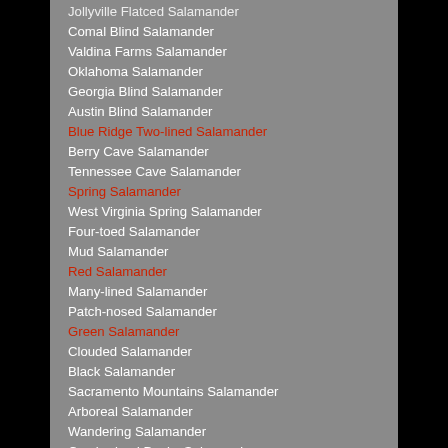Jollyville Flatced Salamander
Comal Blind Salamander
Valdina Farms Salamander
Oklahoma Salamander
Georgia Blind Salamander
Austin Blind Salamander
Blue Ridge Two-lined Salamander
Berry Cave Salamander
Tennessee Cave Salamander
Spring Salamander
West Virginia Spring Salamander
Four-toed Salamander
Mud Salamander
Red Salamander
Many-lined Salamander
Patch-nosed Salamander
Green Salamander
Clouded Salamander
Black Salamander
Sacramento Mountains Salamander
Arboreal Salamander
Wandering Salamander
Cumberland Dusky Salamander
Seepage Salamander
Apalachicola Dusky Salamander
Southern Dusky Salamander
Ouachita Dusky Salamander
Carolina Mountain Dusky Salamander